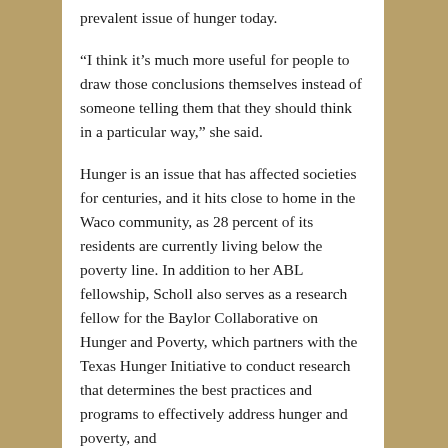prevalent issue of hunger today.
“I think it’s much more useful for people to draw those conclusions themselves instead of someone telling them that they should think in a particular way,” she said.
Hunger is an issue that has affected societies for centuries, and it hits close to home in the Waco community, as 28 percent of its residents are currently living below the poverty line. In addition to her ABL fellowship, Scholl also serves as a research fellow for the Baylor Collaborative on Hunger and Poverty, which partners with the Texas Hunger Initiative to conduct research that determines the best practices and programs to effectively address hunger and poverty, and